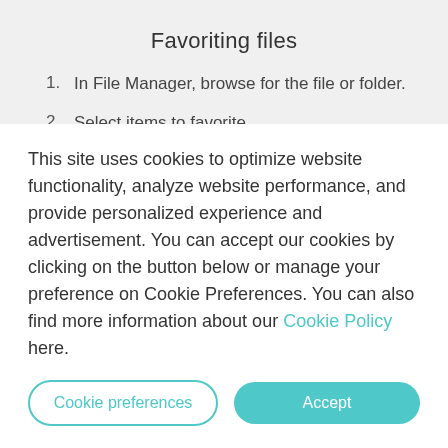Favoriting files
In File Manager, browse for the file or folder.
Select items to favorite.
Tap ♥.
To remove an item from the Favorites tab
This site uses cookies to optimize website functionality, analyze website performance, and provide personalized experience and advertisement. You can accept our cookies by clicking on the button below or manage your preference on Cookie Preferences. You can also find more information about our Cookie Policy here.